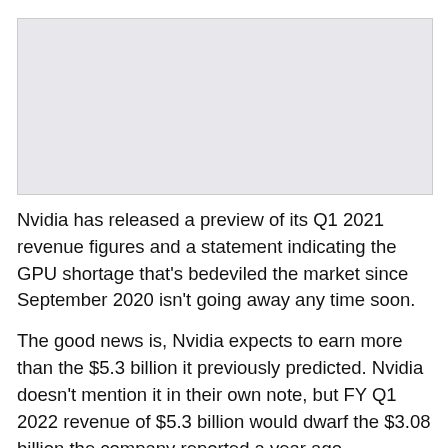[Figure (other): Gray placeholder image area at the top of the page]
Nvidia has released a preview of its Q1 2021 revenue figures and a statement indicating the GPU shortage that's bedeviled the market since September 2020 isn't going away any time soon.
The good news is, Nvidia expects to earn more than the $5.3 billion it previously predicted. Nvidia doesn't mention it in their own note, but FY Q1 2022 revenue of $5.3 billion would dwarf the $3.08 billion the company reported a year ago. Pandemic-related demand, gaming replacement cycles, and cryptocurrency mining have boosted Nvidia's revenue ~1.7x year-on-year.